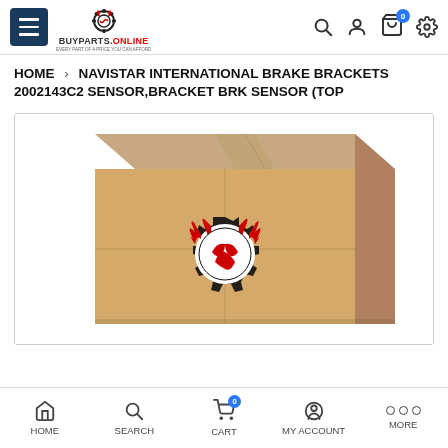BUYPARTS.ONLINE — navigation header with hamburger menu, logo, search, account, cart (0), settings
HOME > NAVISTAR INTERNATIONAL BRAKE BRACKETS 2002143C2 SENSOR,BRACKET BRK SENSOR (TOP
[Figure (photo): Cardboard box with the BuyParts.Online branded logo (red devil horns and gear icon) printed on the front face of the box. The box is light tan/brown cardboard sitting on a white background.]
HOME  SEARCH  CART  MY ACCOUNT  MORE